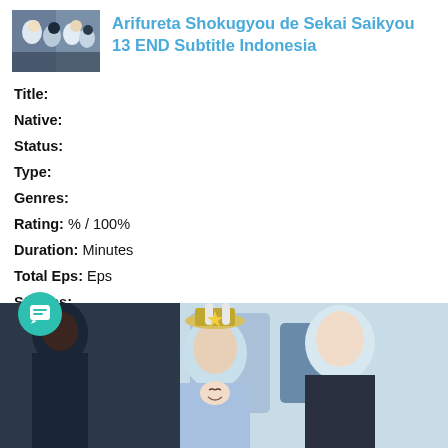[Figure (illustration): Thumbnail image of anime characters from Arifureta Shokugyou de Sekai Saikyou]
Arifureta Shokugyou de Sekai Saikyou 13 END Subtitle Indonesia
Title:
Native:
Status:
Type:
Genres:
Rating: % / 100%
Duration: Minutes
Total Eps: Eps
Studios:
Seasons:
Source:
Sinopsis :
[Figure (illustration): Anime scene image at bottom of page showing anime characters]
[Figure (illustration): Chat button icon (teal circle with message icon) at bottom left]